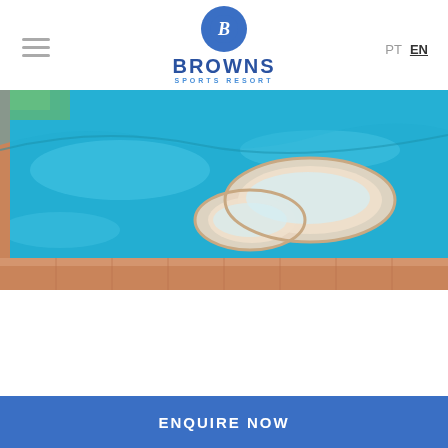BROWNS SPORTS RESORT — PT EN
[Figure (photo): Aerial view of a bright blue outdoor swimming pool with a distinctive peanut/figure-eight shaped island platform in the center, surrounded by terracotta tile edging and green grass beyond.]
Recovery Facilities
Indoor Pool
Steamroom
Sauna
ENQUIRE NOW